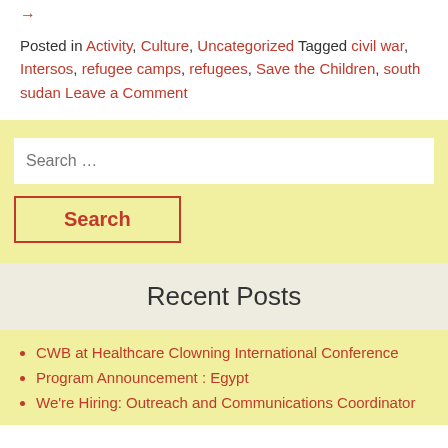→
Posted in Activity, Culture, Uncategorized Tagged civil war, Intersos, refugee camps, refugees, Save the Children, south sudan Leave a Comment
Search …
Search
Recent Posts
CWB at Healthcare Clowning International Conference
Program Announcement : Egypt
We're Hiring: Outreach and Communications Coordinator